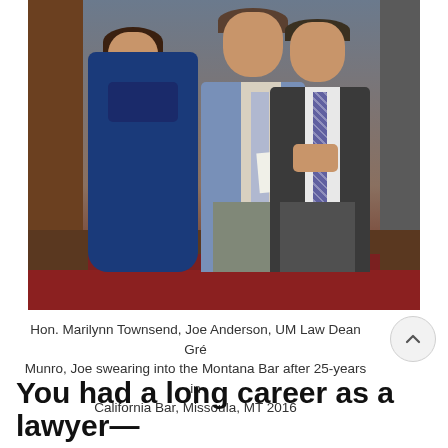[Figure (photo): Three people standing in a courtroom. On the left is a woman wearing a blue judicial robe. In the center is a man in a blue suit with a light tie holding papers. On the right is a man in a dark suit with a patterned tie. Wooden benches and a red tile floor are visible in the background.]
Hon. Marilynn Townsend, Joe Anderson, UM Law Dean Gre Munro, Joe swearing into the Montana Bar after 25-years in California Bar, Missoula, MT 2016
You had a long career as a lawyer—